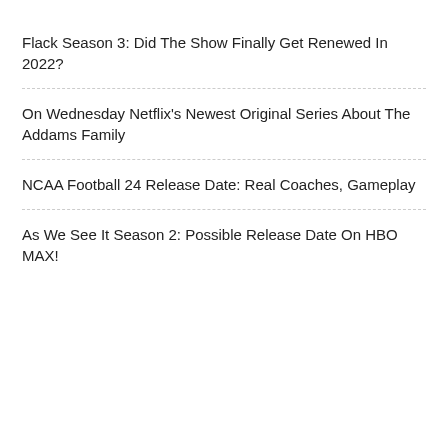Flack Season 3: Did The Show Finally Get Renewed In 2022?
On Wednesday Netflix’s Newest Original Series About The Addams Family
NCAA Football 24 Release Date: Real Coaches, Gameplay
As We See It Season 2: Possible Release Date On HBO MAX!